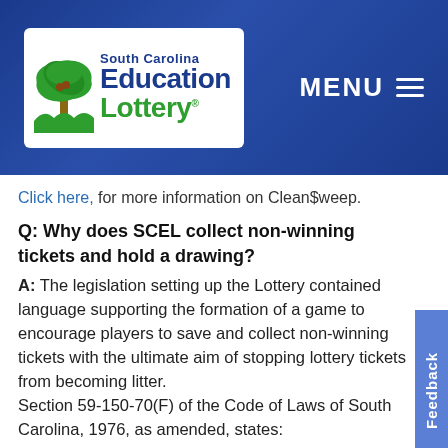[Figure (logo): South Carolina Education Lottery logo with palm tree graphic and menu button on dark blue header background]
Click here, for more information on Clean$weep.
Q: Why does SCEL collect non-winning tickets and hold a drawing?
A: The legislation setting up the Lottery contained language supporting the formation of a game to encourage players to save and collect non-winning tickets with the ultimate aim of stopping lottery tickets from becoming litter.
Section 59-150-70(F) of the Code of Laws of South Carolina, 1976, as amended, states:
"(F) If the board submits a regulation for a lottery game resulting in an instant winner, the board must consider instituting an additional lottery game that makes use of the non-winning instant tickets on a monthly or other periodic